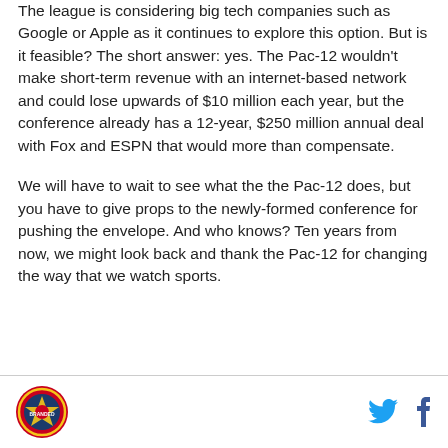The league is considering big tech companies such as Google or Apple as it continues to explore this option. But is it feasible? The short answer: yes. The Pac-12 wouldn't make short-term revenue with an internet-based network and could lose upwards of $10 million each year, but the conference already has a 12-year, $250 million annual deal with Fox and ESPN that would more than compensate.
We will have to wait to see what the the Pac-12 does, but you have to give props to the newly-formed conference for pushing the envelope. And who knows? Ten years from now, we might look back and thank the Pac-12 for changing the way that we watch sports.
[logo] [twitter] [facebook]